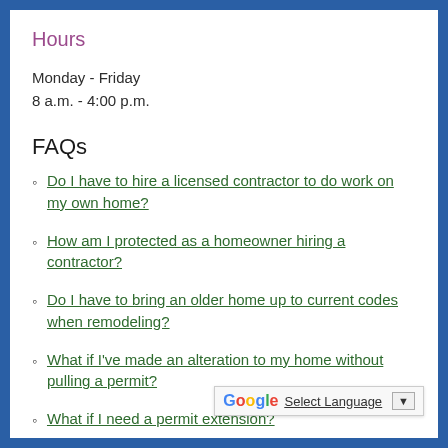Hours
Monday - Friday
8 a.m. - 4:00 p.m.
FAQs
Do I have to hire a licensed contractor to do work on my own home?
How am I protected as a homeowner hiring a contractor?
Do I have to bring an older home up to current codes when remodeling?
What if I've made an alteration to my home without pulling a permit?
What if I need a permit extension?